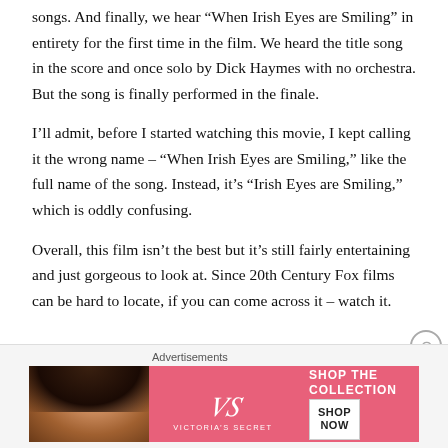songs. And finally, we hear “When Irish Eyes are Smiling” in entirety for the first time in the film. We heard the title song in the score and once solo by Dick Haymes with no orchestra. But the song is finally performed in the finale.
I’ll admit, before I started watching this movie, I kept calling it the wrong name – “When Irish Eyes are Smiling,” like the full name of the song. Instead, it’s “Irish Eyes are Smiling,” which is oddly confusing.
Overall, this film isn’t the best but it’s still fairly entertaining and just gorgeous to look at. Since 20th Century Fox films can be hard to locate, if you can come across it – watch it.
[Figure (other): Victoria's Secret advertisement banner with a model photo on the left, pink background with VS logo and 'Victoria's Secret' text in the middle, and 'SHOP THE COLLECTION' text with 'SHOP NOW' button on the right.]
Advertisements